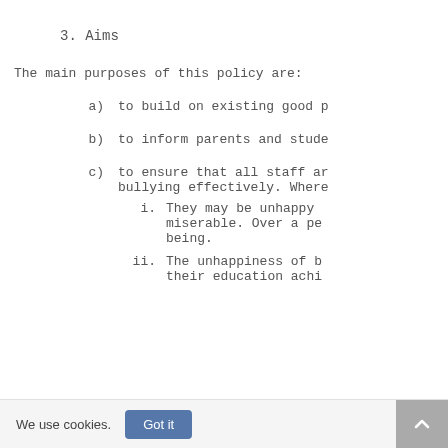3. Aims
The main purposes of this policy are:
a)      to build on existing good p
b)      to inform parents and stude
c)      to ensure that all staff ar bullying effectively. Where
i.      They may be unhappy miserable. Over a pe being.
ii.     The unhappiness of b their education achi